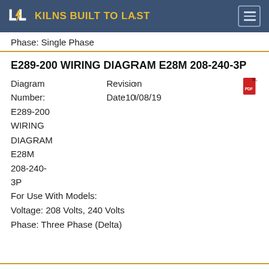KILNS BUILT TO LAST
Phase: Single Phase
E289-200 WIRING DIAGRAM E28M 208-240-3P
| Diagram | Revision |  |
| --- | --- | --- |
| Number: | Date10/08/19 |  |
| E289-200 |  |  |
| WIRING |  |  |
| DIAGRAM |  |  |
| E28M |  |  |
| 208-240- |  |  |
| 3P |  |  |
For Use With Models:
Voltage: 208 Volts, 240 Volts
Phase: Three Phase (Delta)